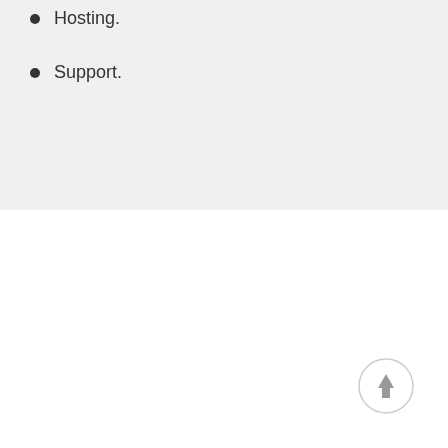Hosting.
Support.
CONTACT US
[Figure (illustration): Up arrow scroll-to-top circular button]